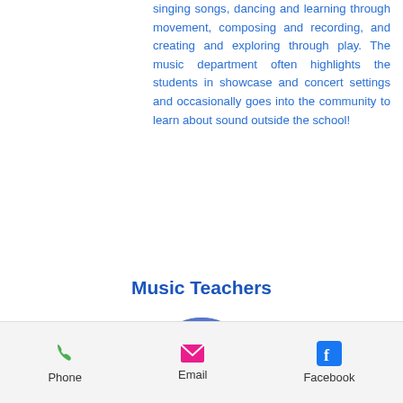singing songs, dancing and learning through movement, composing and recording, and creating and exploring through play. The music department often highlights the students in showcase and concert settings and occasionally goes into the community to learn about sound outside the school!
Music Teachers
[Figure (photo): Circular portrait photo of Elizabeth Lanzer, a woman with dark hair wearing a black top, against a blue background.]
ELIZABETH LANZER
Music Teacher / Department Head
Phone   Email   Facebook